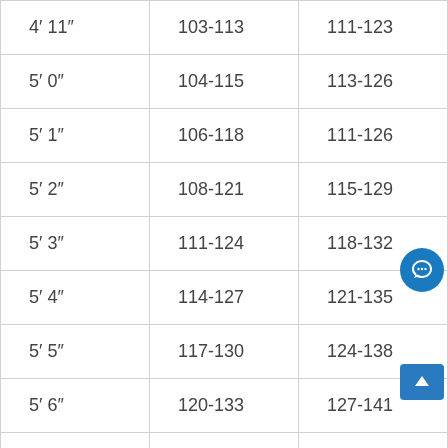| 4’ 11” | 103-113 | 111-123 |
| 5’ 0” | 104-115 | 113-126 |
| 5’ 1” | 106-118 | 111-126 |
| 5’ 2” | 108-121 | 115-129 |
| 5’ 3” | 111-124 | 118-132 |
| 5’ 4” | 114-127 | 121-135 |
| 5’ 5” | 117-130 | 124-138 |
| 5’ 6” | 120-133 | 127-141 |
|  |  |  |